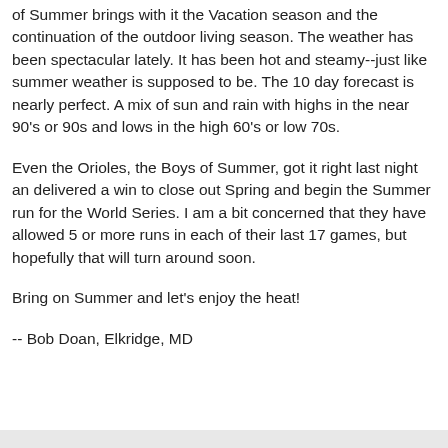of Summer brings with it the Vacation season and the continuation of the outdoor living season. The weather has been spectacular lately. It has been hot and steamy--just like summer weather is supposed to be. The 10 day forecast is nearly perfect. A mix of sun and rain with highs in the near 90's or 90s and lows in the high 60's or low 70s.
Even the Orioles, the Boys of Summer, got it right last night an delivered a win to close out Spring and begin the Summer run for the World Series. I am a bit concerned that they have allowed 5 or more runs in each of their last 17 games, but hopefully that will turn around soon.
Bring on Summer and let's enjoy the heat!
-- Bob Doan, Elkridge, MD